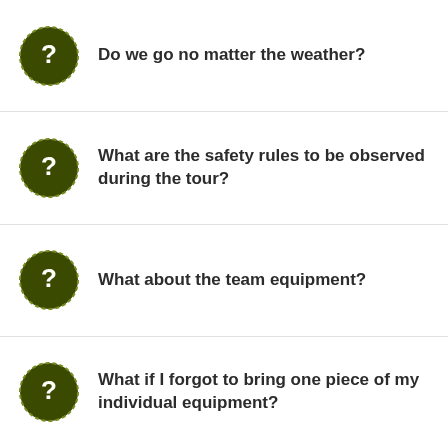Do we go no matter the weather?
What are the safety rules to be observed during the tour?
What about the team equipment?
What if I forgot to bring one piece of my individual equipment?